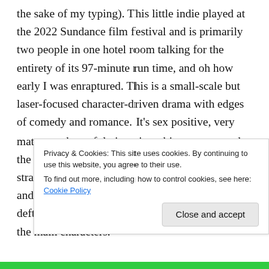the sake of my typing). This little indie played at the 2022 Sundance film festival and is primarily two people in one hotel room talking for the entirety of its 97-minute run time, and oh how early I was enraptured. This is a small-scale but laser-focused character-driven drama with edges of comedy and romance. It's sex positive, very mature and tasteful given its subject matter, and the general awkwardness of watching two strangers combat sexual and personal hang-ups and vulnerabilities melted away thanks to the deftly superior acting, writing, and directing of the main characters.
Privacy & Cookies: This site uses cookies. By continuing to use this website, you agree to their use. To find out more, including how to control cookies, see here: Cookie Policy
Close and accept